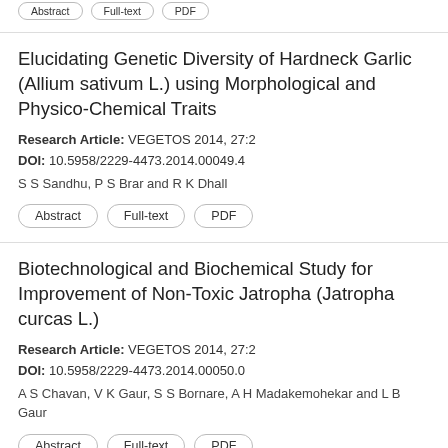Elucidating Genetic Diversity of Hardneck Garlic (Allium sativum L.) using Morphological and Physico-Chemical Traits
Research Article: VEGETOS 2014, 27:2
DOI: 10.5958/2229-4473.2014.00049.4
S S Sandhu, P S Brar and R K Dhall
Abstract
Full-text
PDF
Biotechnological and Biochemical Study for Improvement of Non-Toxic Jatropha (Jatropha curcas L.)
Research Article: VEGETOS 2014, 27:2
DOI: 10.5958/2229-4473.2014.00050.0
A S Chavan, V K Gaur, S S Bornare, A H Madakemohekar and L B Gaur
Abstract
Full-text
PDF
Radiomimetic Efficacies of Asparagus